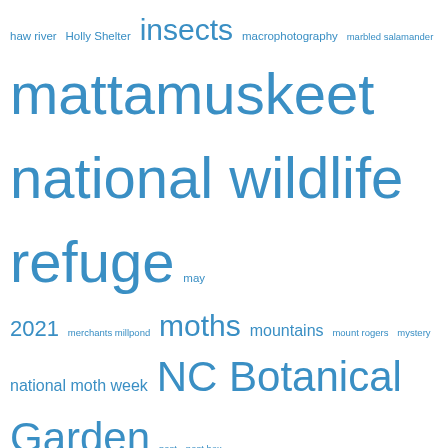[Figure (infographic): Tag cloud with wildlife/nature blog tags in varying font sizes rendered in blue. Larger tags indicate higher frequency. Tags include: haw river, Holly Shelter, insects, macrophotography, marbled salamander, mattamuskeet national wildlife refuge, may 2021, merchants millpond, moths, mountains, mount rogers, mystery, national moth week, NC Botanical Garden, nest, nest box, oct 2021, pocosin lakes national wildlife refuge, pungo, redbud, river otter, roanoke river, ruby-throated hummingbird, sandhill cranes, Scarlet tanager, snow, snow geese, spider, spiders, spotted salamander, spring, spring migration, spring wildflowers, swamp, trail camera, truck camping, tundra swan, tundra swans, white-tailed deer, wildflowers, wilson's snipe, winter, year in review, Yellowstone, yellowstone in winter]